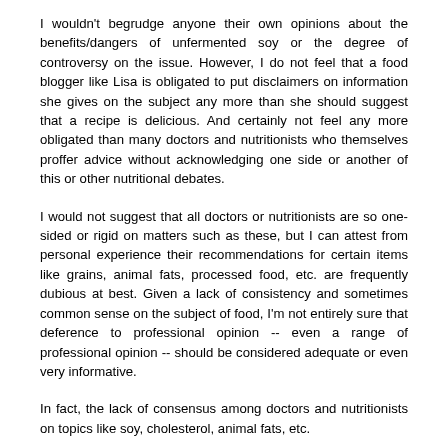I wouldn't begrudge anyone their own opinions about the benefits/dangers of unfermented soy or the degree of controversy on the issue. However, I do not feel that a food blogger like Lisa is obligated to put disclaimers on information she gives on the subject any more than she should suggest that a recipe is delicious. And certainly not feel any more obligated than many doctors and nutritionists who themselves proffer advice without acknowledging one side or another of this or other nutritional debates.
I would not suggest that all doctors or nutritionists are so one-sided or rigid on matters such as these, but I can attest from personal experience their recommendations for certain items like grains, animal fats, processed food, etc. are frequently dubious at best. Given a lack of consistency and sometimes common sense on the subject of food, I'm not entirely sure that deference to professional opinion -- even a range of professional opinion -- should be considered adequate or even very informative.
In fact, the lack of consensus among doctors and nutritionists on topics like soy, cholesterol, animal fats, etc.